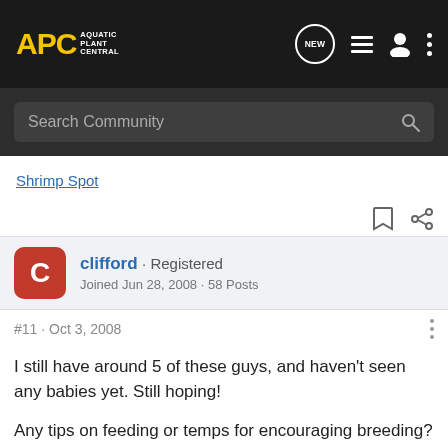APC Aquatic Plant Central
Search Community
Shrimp Spot
clifford · Registered
Joined Jun 28, 2008 · 58 Posts
#11 · Oct 3, 2008
I still have around 5 of these guys, and haven't seen any babies yet. Still hoping!

Any tips on feeding or temps for encouraging breeding?